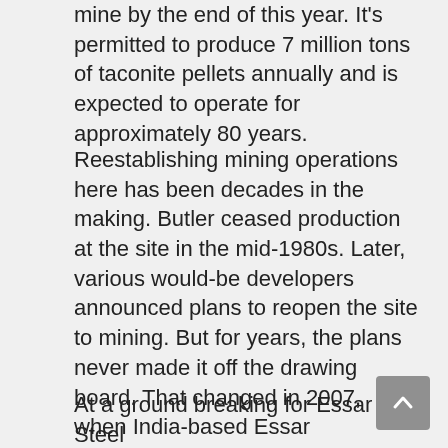mine by the end of this year. It's permitted to produce 7 million tons of taconite pellets annually and is expected to operate for approximately 80 years.
Reestablishing mining operations here has been decades in the making. Butler ceased production at the site in the mid-1980s. Later, various would-be developers announced plans to reopen the site to mining. But for years, the plans never made it off the drawing board. That changed in 2007, when India-based Essar purchased what was formerly known as Minnesota Steel Industries.
At a ground breaking for Essar Steel